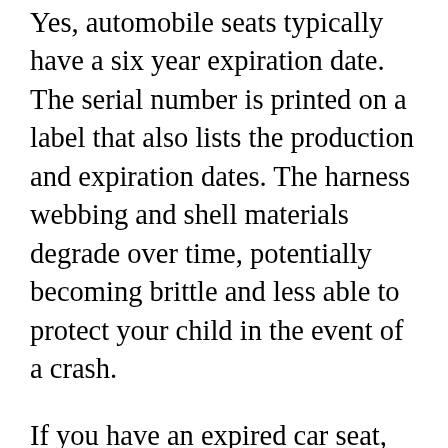Yes, automobile seats typically have a six year expiration date. The serial number is printed on a label that also lists the production and expiration dates. The harness webbing and shell materials degrade over time, potentially becoming brittle and less able to protect your child in the event of a crash.
If you have an expired car seat, you can check with the manufacturer to see if they offer a replacement program. Some companies will replace parts that have expired, while others will allow you to trade in your old seat for a discount on a new one. You can also contact your local recycling